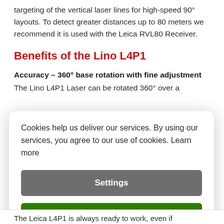targeting of the vertical laser lines for high-speed 90° layouts. To detect greater distances up to 80 meters we recommend it is used with the Leica RVL80 Receiver.
Benefits of the Lino L4P1
Accuracy – 360° base rotation with fine adjustment
The Lino L4P1 Laser can be rotated 360° over a
Cookies help us deliver our services. By using our services, you agree to our use of cookies. Learn more
Settings
Agree
The Leica L4P1 is always ready to work, even if